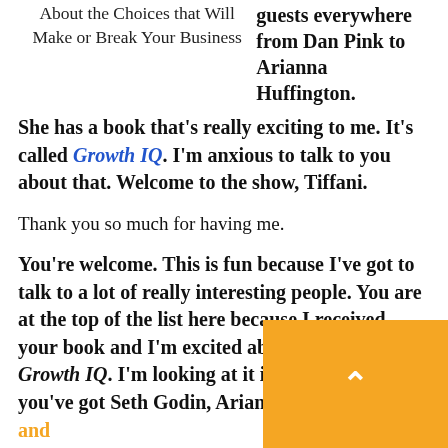About the Choices that Will Make or Break Your Business
guests everywhere from Dan Pink to Arianna Huffington. She has a book that's really exciting to me. It's called Growth IQ. I'm anxious to talk to you about that. Welcome to the show, Tiffani.
Thank you so much for having me.
You're welcome. This is fun because I've got to talk to a lot of really interesting people. You are at the top of the list here because I received your book and I'm excited about it. It was called Growth IQ. I'm looking at it in my hand and you've got Seth Godin, Arianna, Daniel Pink and